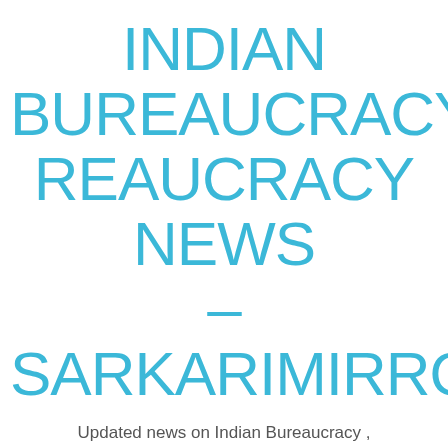INDIAN BUREAUCRACY,BUREAUCRACY NEWS – SARKARIMIRROR
Updated news on Indian Bureaucracy , Bureaucracy News,IAS News ,IPS News Political News ,Events in India,Corporate & International news
reflection enlightenment